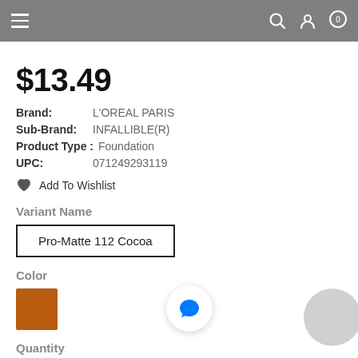Navigation header with hamburger menu, search, account, and cart icons
$13.49
Brand: L'OREAL PARIS
Sub-Brand: INFALLIBLE(R)
Product Type: Foundation
UPC: 071249293119
Add To Wishlist
Variant Name
Pro-Matte 112 Cocoa
Color
[Figure (illustration): Brown color swatch square]
Quantity